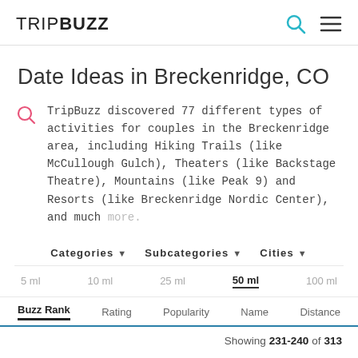TRIPBUZZ
Date Ideas in Breckenridge, CO
TripBuzz discovered 77 different types of activities for couples in the Breckenridge area, including Hiking Trails (like McCullough Gulch), Theaters (like Backstage Theatre), Mountains (like Peak 9) and Resorts (like Breckenridge Nordic Center), and much more.
Categories ▾   Subcategories ▾   Cities ▾
5 ml   10 ml   25 ml   50 ml   100 ml
Buzz Rank   Rating   Popularity   Name   Distance
Showing 231-240 of 313